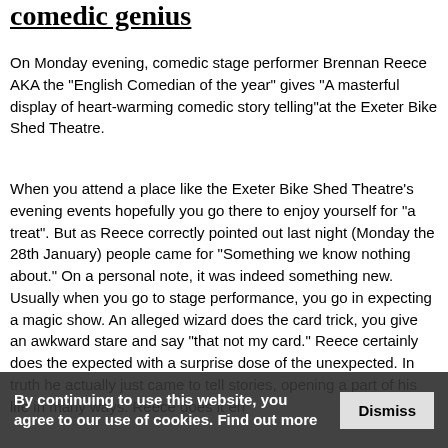comedic genius
On Monday evening, comedic stage performer Brennan Reece AKA the "English Comedian of the year" gives "A masterful display of heart-warming comedic story telling"at the Exeter Bike Shed Theatre.
When you attend a place like the Exeter Bike Shed Theatre's evening events hopefully you go there to enjoy yourself for "a treat". But as Reece correctly pointed out last night (Monday the 28th January) people came for "Something we know nothing about." On a personal note, it was indeed something new. Usually when you go to stage performance, you go in expecting a magic show. An alleged wizard does the card trick, you give an awkward stare and say "that not my card." Reece certainly does the expected with a surprise dose of the unexpected. In truth he actually just came to tell stories, opening a part of his life in many ways. Reece does it en
By continuing to use this website, you agree to our use of cookies. Find out more   Dismiss